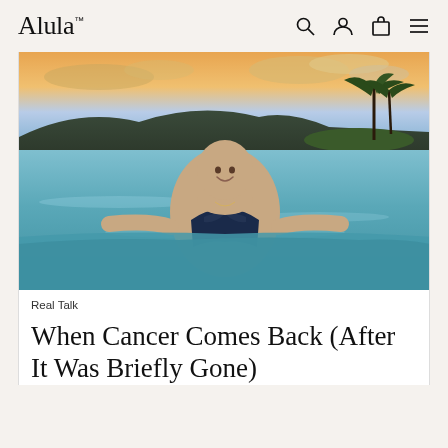Alula™
[Figure (photo): A bald woman smiling in a tropical ocean setting, arms spread wide, wearing a dark floral bikini top. Sunset sky with clouds and palm trees in the background.]
Real Talk
When Cancer Comes Back (After It Was Briefly Gone)